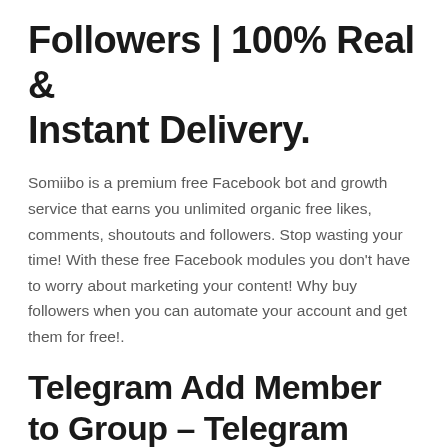Followers | 100% Real & Instant Delivery.
Somiibo is a premium free Facebook bot and growth service that earns you unlimited organic free likes, comments, shoutouts and followers. Stop wasting your time! With these free Facebook modules you don't have to worry about marketing your content! Why buy followers when you can automate your account and get them for free!.
Telegram Add Member to Group – Telegram Add Member.